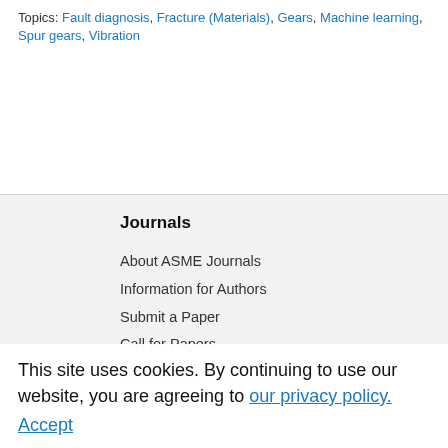Topics: Fault diagnosis, Fracture (Materials), Gears, Machine learning, Spur gears, Vibration
Journals
About ASME Journals
Information for Authors
Submit a Paper
Call for Papers
Conference Proceedings
About ASME Conference
This site uses cookies. By continuing to use our website, you are agreeing to our privacy policy. Accept